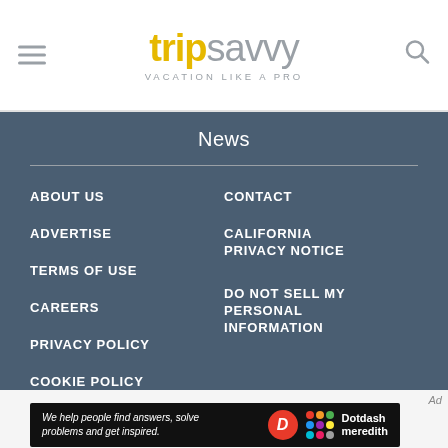[Figure (logo): TripSavvy logo with hamburger menu icon on left and search icon on right. Logo shows 'trip' in gold bold and 'savvy' in gray light weight. Tagline: VACATION LIKE A PRO]
News
ABOUT US
ADVERTISE
TERMS OF USE
CAREERS
PRIVACY POLICY
COOKIE POLICY
CONTACT
CALIFORNIA PRIVACY NOTICE
DO NOT SELL MY PERSONAL INFORMATION
Ad
[Figure (infographic): Dotdash Meredith advertisement banner: 'We help people find answers, solve problems and get inspired.' with Dotdash Meredith logo]